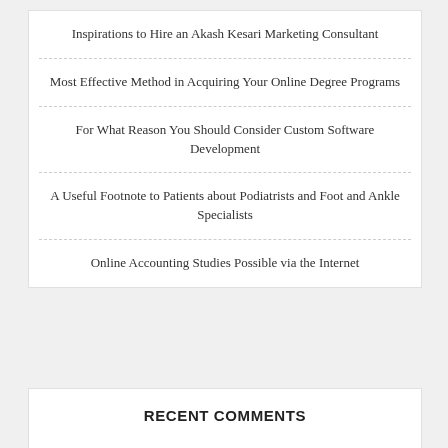Inspirations to Hire an Akash Kesari Marketing Consultant
Most Effective Method in Acquiring Your Online Degree Programs
For What Reason You Should Consider Custom Software Development
A Useful Footnote to Patients about Podiatrists and Foot and Ankle Specialists
Online Accounting Studies Possible via the Internet
RECENT COMMENTS